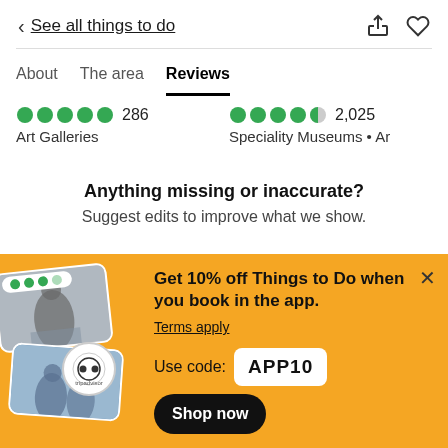< See all things to do
About   The area   Reviews
●●●●● 286  Art Galleries    ●●●●◐ 2,025  Speciality Museums • Ar
Anything missing or inaccurate?
Suggest edits to improve what we show.
[Figure (screenshot): TripAdvisor promotional banner with yellow background showing 10% off Things to Do when booking in the app. Use code APP10. Shop now button.]